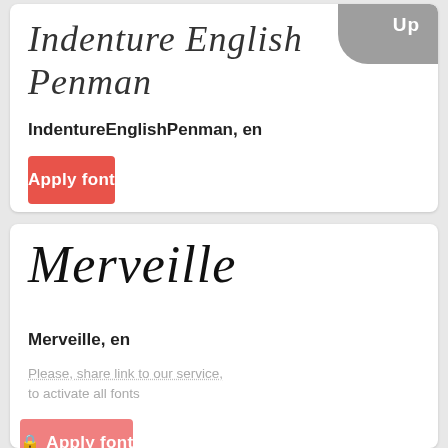[Figure (screenshot): Cursive script preview of IndentureEnglishPenman font with 'Up' badge in top right corner]
IndentureEnglishPenman, en
Apply font
[Figure (screenshot): Cursive script preview of Merveille font]
Merveille, en
Please, share link to our service, to activate all fonts
Apply font